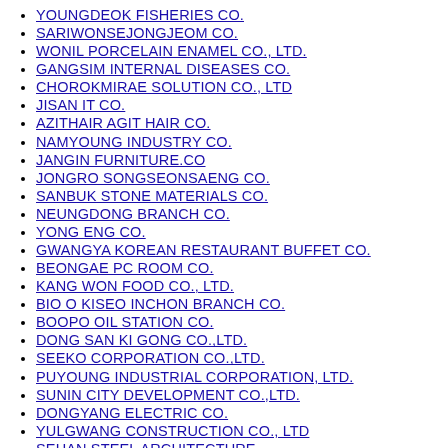YOUNGDEOK FISHERIES CO.
SARIWONSEJONGJEOM CO.
WONIL PORCELAIN ENAMEL CO., LTD.
GANGSIM INTERNAL DISEASES CO.
CHOROKMIRAE SOLUTION CO., LTD
JISAN IT CO.
AZITHAIR AGIT HAIR CO.
NAMYOUNG INDUSTRY CO.
JANGIN FURNITURE.CO
JONGRO SONGSEONSAENG CO.
SANBUK STONE MATERIALS CO.
NEUNGDONG BRANCH CO.
YONG ENG CO.
GWANGYA KOREAN RESTAURANT BUFFET CO.
BEONGAE PC ROOM CO.
KANG WON FOOD CO., LTD.
BIO O KISEO INCHON BRANCH CO.
BOOPO OIL STATION CO.
DONG SAN KI GONG CO.,LTD.
SEEKO CORPORATION CO.,LTD.
PUYOUNG INDUSTRIAL CORPORATION, LTD.
SUNIN CITY DEVELOPMENT CO.,LTD.
DONGYANG ELECTRIC CO.
YULGWANG CONSTRUCTION CO., LTD
SEHAN STEEL ARCHITECTURE